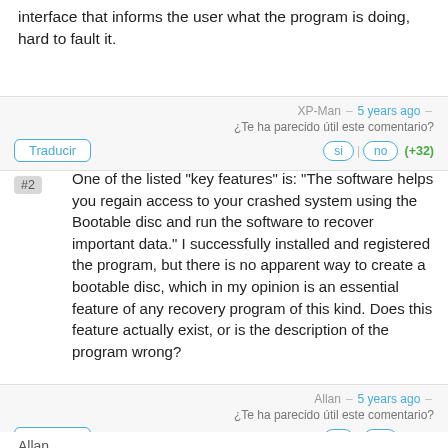interface that informs the user what the program is doing, hard to fault it.
XP-Man – 5 years ago –
¿Te ha parecido útil este comentario?
Traducir   si | no (+32)
#2  One of the listed "key features" is: "The software helps you regain access to your crashed system using the Bootable disc and run the software to recover important data." I successfully installed and registered the program, but there is no apparent way to create a bootable disc, which in my opinion is an essential feature of any recovery program of this kind. Does this feature actually exist, or is the description of the program wrong?
Allan – 5 years ago –
¿Te ha parecido útil este comentario?
Traducir   si | no (+16)
Allan